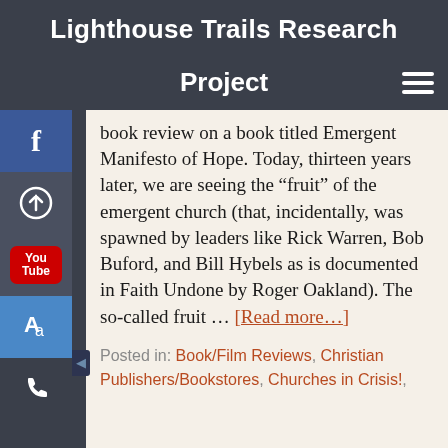Lighthouse Trails Research
Project
book review on a book titled Emergent Manifesto of Hope. Today, thirteen years later, we are seeing the “fruit” of the emergent church (that, incidentally, was spawned by leaders like Rick Warren, Bob Buford, and Bill Hybels as is documented in Faith Undone by Roger Oakland). The so-called fruit … [Read more…]
Posted in: Book/Film Reviews, Christian Publishers/Bookstores, Churches in Crisis!,